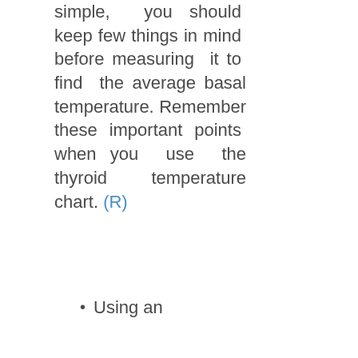simple, you should keep few things in mind before measuring it to find the average basal temperature. Remember these important points when you use the thyroid temperature chart. (R)
Using an